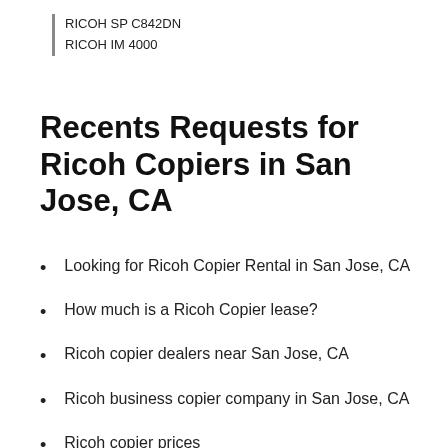RICOH SP C842DN
RICOH IM 4000
Recents Requests for Ricoh Copiers in San Jose, CA
Looking for Ricoh Copier Rental in San Jose, CA
How much is a Ricoh Copier lease?
Ricoh copier dealers near San Jose, CA
Ricoh business copier company in San Jose, CA
Ricoh copier prices